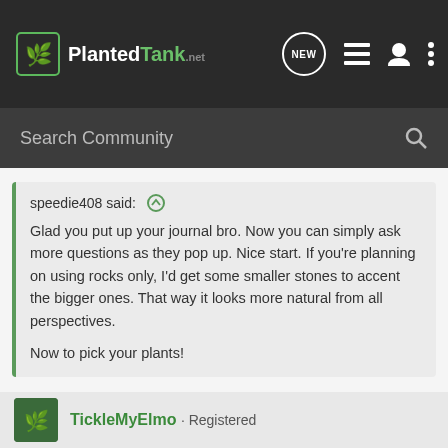PlantedTank — Search Community
speedie408 said: ↑
Glad you put up your journal bro. Now you can simply ask more questions as they pop up. Nice start. If you're planning on using rocks only, I'd get some smaller stones to accent the bigger ones. That way it looks more natural from all perspectives.

Now to pick your plants!
Thanks. Here goes. Your point on the rocks is well taken. I just need to get back to AFA. :biggrin:
TickleMyElmo · Registered